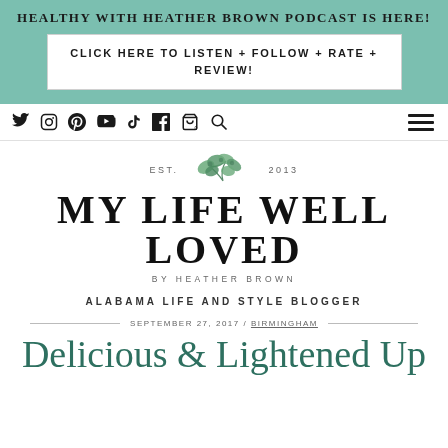HEALTHY WITH HEATHER BROWN PODCAST IS HERE!
CLICK HERE TO LISTEN + FOLLOW + RATE + REVIEW!
[Figure (other): Social media navigation icons: Twitter, Instagram, Pinterest, YouTube, TikTok, Facebook, Cart, Search, and hamburger menu]
[Figure (logo): My Life Well Loved logo with eucalyptus branch, EST. 2013, BY HEATHER BROWN]
ALABAMA LIFE AND STYLE BLOGGER
SEPTEMBER 27, 2017 / BIRMINGHAM
Delicious & Lightened Up